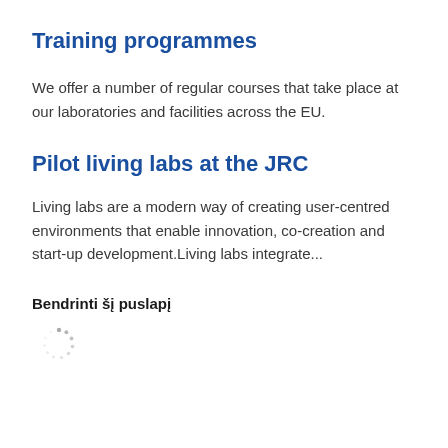Training programmes
We offer a number of regular courses that take place at our laboratories and facilities across the EU.
Pilot living labs at the JRC
Living labs are a modern way of creating user-centred environments that enable innovation, co-creation and start-up development.Living labs integrate...
Bendrinti šį puslapį
[Figure (other): Loading spinner icon (dotted circle)]